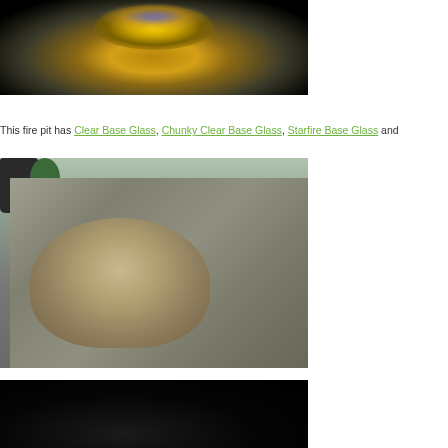[Figure (photo): Top portion of a fire pit with glowing glass media — gold, amber, and blue/purple glass pieces lit from below against a dark background]
This fire pit has Clear Base Glass, Chunky Clear Base Glass, Starfire Base Glass and
[Figure (photo): Outdoor rock fire pit structure — empty interior showing the ring burner tray, surrounded by natural-looking faux rock formation. A black bucket and palm plant are visible in the background on a concrete patio.]
[Figure (photo): Bottom portion of fire pit at night — dark image showing the beginning of a lit fire pit scene]